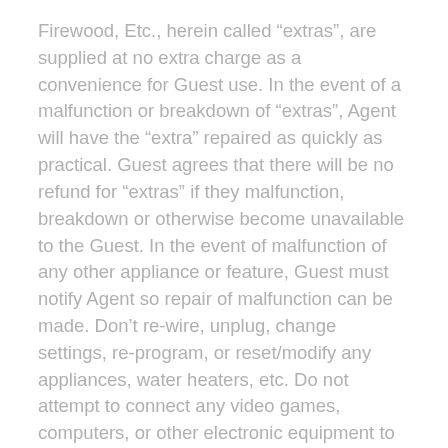Firewood, Etc., herein called “extras”, are supplied at no extra charge as a convenience for Guest use. In the event of a malfunction or breakdown of “extras”, Agent will have the “extra” repaired as quickly as practical. Guest agrees that there will be no refund for “extras” if they malfunction, breakdown or otherwise become unavailable to the Guest. In the event of malfunction of any other appliance or feature, Guest must notify Agent so repair of malfunction can be made. Don’t re-wire, unplug, change settings, re-program, or reset/modify any appliances, water heaters, etc. Do not attempt to connect any video games, computers, or other electronic equipment to the TVs, networking equipment, or other appliance. Any repair work, re-wiring, settings reset, or reprogramming will result in a $50 charge to the